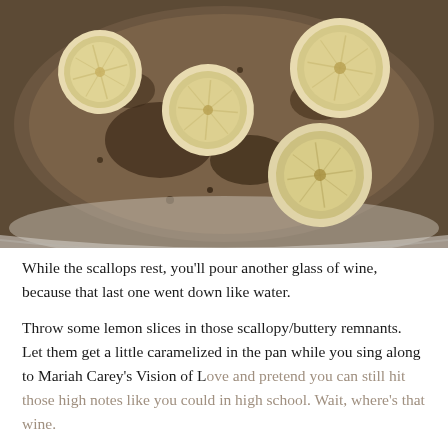[Figure (photo): Overhead photo of seared lemon slices in a pan with dark scallop/butter remnants. Four halved lemons are visible, caramelized and slightly charred, sitting in a round white pan with browned bits.]
While the scallops rest, you'll pour another glass of wine, because that last one went down like water.
Throw some lemon slices in those scallopy/buttery remnants. Let them get a little caramelized in the pan while you sing along to Mariah Carey's Vision of Love and pretend you can still hit those high notes like you could in high school. Wait, where's that wine.